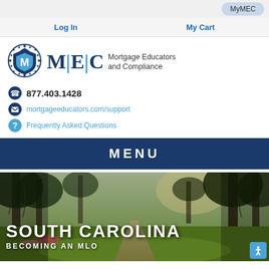MyMEC
Log In | My Cart
[Figure (logo): MEC shield logo with graduation cap]
M|E|C Mortgage Educators and Compliance
877.403.1428
mortgageeducators.com/support
Frequently Asked Questions
MENU
[Figure (photo): South Carolina scenic photo with trees and pathway, overlaid with text: SOUTH CAROLINA BECOMING AN MLO]